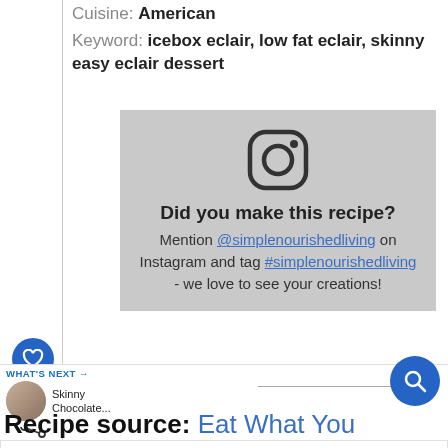Cuisine: American
Keyword: icebox eclair, low fat eclair, skinny easy eclair dessert
[Figure (infographic): Instagram call-to-action box with Instagram logo icon, text 'Did you make this recipe? Mention @simplenourishedliving on Instagram and tag #simplenourishedliving - we love to see your creations!']
342
WHAT'S NEXT → Skinny Chocolate...
Recipe source: Eat What You
Save When You Shop For Photo Gifts At CVS. Find Deals Today.